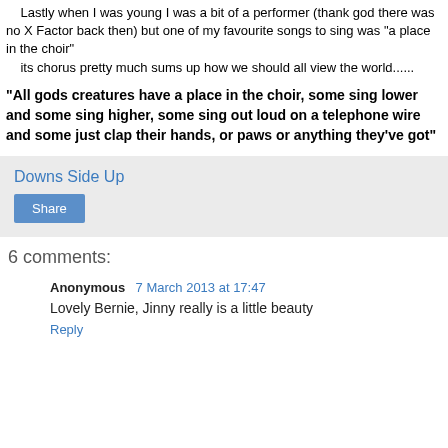Lastly when I was young I was a bit of a performer (thank god there was no X Factor back then) but one of my favourite songs to sing was "a place in the choir"
    its chorus pretty much sums up how we should all view the world......
"All gods creatures have a place in the choir, some sing lower and some sing higher, some sing out loud on a telephone wire and some just clap their hands, or paws or anything they've got"
Downs Side Up
Share
6 comments:
Anonymous 7 March 2013 at 17:47
Lovely Bernie, Jinny really is a little beauty
Reply